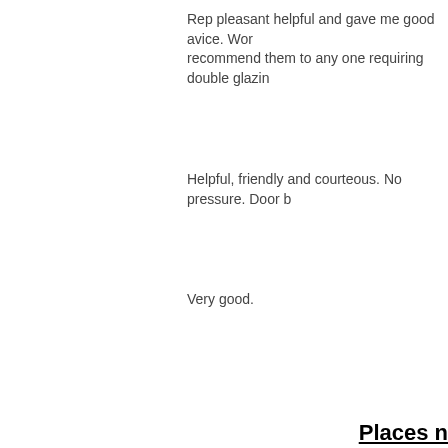Rep pleasant helpful and gave me good avice. Wor recommend them to any one requiring double glazin
Helpful, friendly and courteous. No pressure. Door b
Very good.
Places n
Auchmithie, Auchterhouse, Baldovie, Ballumbie, Balmerino, Barns, Bridgefoot, Brighty, Broughty Ferry, Careston, Carmyllie, Carnoust, Farnell, Ferryden, Forfar, Fowlis, Friockheim, Gauldry, Glamis, Gle, Johnshaven, Kellas, Kingennie, Kingsmuir, Kinneff, Kirkton Of Bal, Lochee, Longforgan, Lunanhead, Menmuir, Monifieth, Monikie, Mo, Panbride, Panmure, Scotscraig, St. Cyrus, St. Fort, St. Vigeans, S, Westmuir, Westway, Wormit